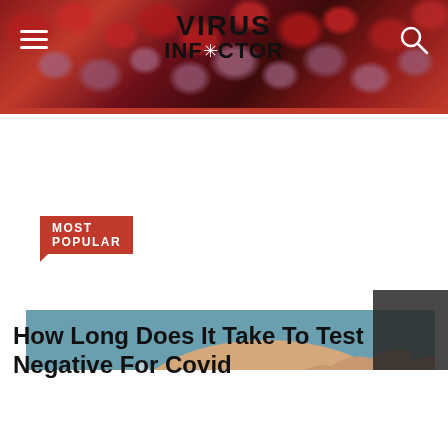VIRUS INFECTOR
MOST POPULAR
[Figure (photo): Close-up of a hand holding a COVID-19 nasal swab test kit with swab and test tube]
How Long Does It Take To Test Negative For Covid
[Figure (photo): Person wearing a blue face shield at an outdoor event]